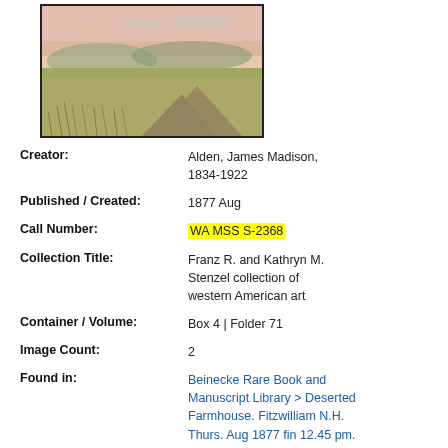[Figure (illustration): Watercolor landscape painting showing a field with dry grass, a rocky outcrop in the foreground, green meadow in the middle ground, and hills with a pinkish sky in the background. Framed with a black border.]
Creator: Alden, James Madison, 1834-1922
Published / Created: 1877 Aug
Call Number: WA MSS S-2368
Collection Title: Franz R. and Kathryn M. Stenzel collection of western American art
Container / Volume: Box 4 | Folder 71
Image Count: 2
Found in: Beinecke Rare Book and Manuscript Library > Deserted Farmhouse. Fitzwilliam N.H. Thurs. Aug 1877 fin 12.45 pm.